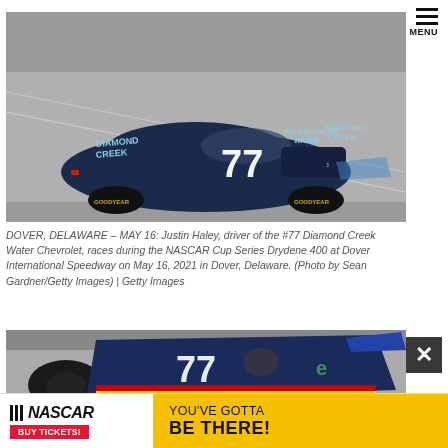[Figure (photo): NASCAR Cup Series race car #77 Diamond Creek Water Chevrolet driven by Justin Haley at Dover International Speedway, viewed from above/side angle on grey track surface.]
DOVER, DELAWARE – MAY 16: Justin Haley, driver of the #77 Diamond Creek Water Chevrolet, races during the NASCAR Cup Series Drydene 400 at Dover International Speedway on May 16, 2021 in Dover, Delaware. (Photo by Sean Gardner/Getty Images) | Getty Images
[Figure (photo): NASCAR race car #77 on track at Dover, partial view showing front/top of car in blue livery.]
[Figure (other): NASCAR advertisement banner: NASCAR logo with Buy Tickets button on left, yellow background with text YOU'VE GOTTA BE THERE! on right.]